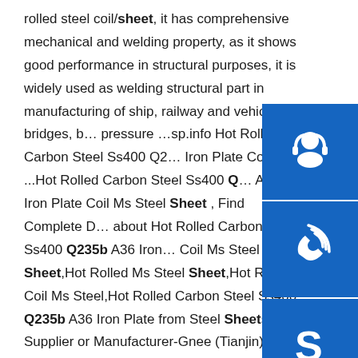rolled steel coil/sheet, it has comprehensive mechanical and welding property, as it shows good performance in structural purposes, it is widely used as welding structural part in manufacturing of ship, railway and vehicles, bridges, b… pressure …sp.info Hot Rolled Carbon Steel Ss400 Q2… Iron Plate Coil Ms ...Hot Rolled Carbon Steel Ss400 Q… A36 Iron Plate Coil Ms Steel Sheet , Find Complete D… about Hot Rolled Carbon Steel Ss400 Q235b A36 Iron… Coil Ms Steel Sheet,Hot Rolled Ms Steel Sheet,Hot R… Coil Ms Steel,Hot Rolled Carbon Steel Ss400 Q235b A36 Iron Plate from Steel Sheets Supplier or Manufacturer-Gnee (Tianjin) Multinational Trade Co., Ltd.sp.info astm a36/a36m mauritius machining-ASTM A36 Steel Supplieroil transportation q345b coil chemical composition. jis sma570p steel width. ... platform to build q235b coil dealer. ... St 60-2 -
[Figure (illustration): Three blue icon boxes stacked vertically on the right side. Top: headset/customer service icon (white headset with person silhouette on blue background). Middle: phone/call icon (white wireless phone icon on blue background). Bottom: Skype icon (white 'S' logo on blue background).]